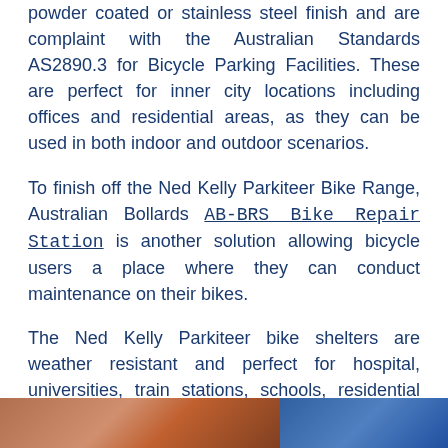powder coated or stainless steel finish and are complaint with the Australian Standards AS2890.3 for Bicycle Parking Facilities. These are perfect for inner city locations including offices and residential areas, as they can be used in both indoor and outdoor scenarios.
To finish off the Ned Kelly Parkiteer Bike Range, Australian Bollards AB-BRS Bike Repair Station is another solution allowing bicycle users a place where they can conduct maintenance on their bikes.
The Ned Kelly Parkiteer bike shelters are weather resistant and perfect for hospital, universities, train stations, schools, residential properties and other various public locations.
[Figure (photo): Bottom strip showing two photos: left photo appears to show bicycle-related outdoor scene in warm tones, right photo shows a blue-toned scene.]